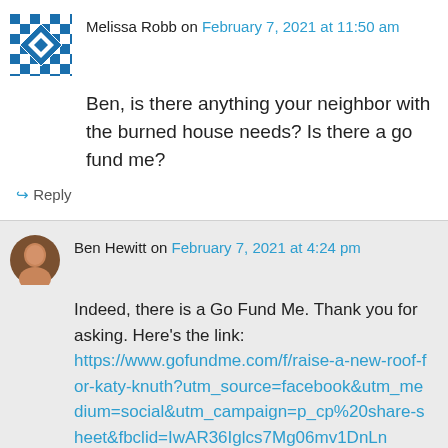Melissa Robb on February 7, 2021 at 11:50 am
Ben, is there anything your neighbor with the burned house needs? Is there a go fund me?
↳ Reply
Ben Hewitt on February 7, 2021 at 4:24 pm
Indeed, there is a Go Fund Me. Thank you for asking. Here's the link: https://www.gofundme.com/f/raise-a-new-roof-for-katy-knuth?utm_source=facebook&utm_medium=social&utm_campaign=p_cp%20share-sheet&fbclid=IwAR36Iglcs7Mg06mv1DnLn